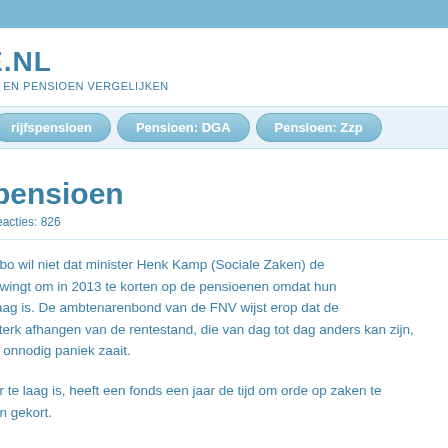E.NL
ES EN PENSIOEN VERGELIJKEN
[Figure (other): Navigation bar with three tab buttons: rijfspensioen, Pensioen: DGA, Pensioen: Zzp]
opensioen
reacties: 826
nbo wil niet dat minister Henk Kamp (Sociale Zaken) de dwingt om in 2013 te korten op de pensioenen omdat hun laag is. De ambtenarenbond van de FNV wijst erop dat de sterk afhangen van de rentestand, die van dag tot dag anders kan zijn, p onnodig paniek zaait.
er te laag is, heeft een fonds een jaar de tijd om orde op zaken te en gekort.